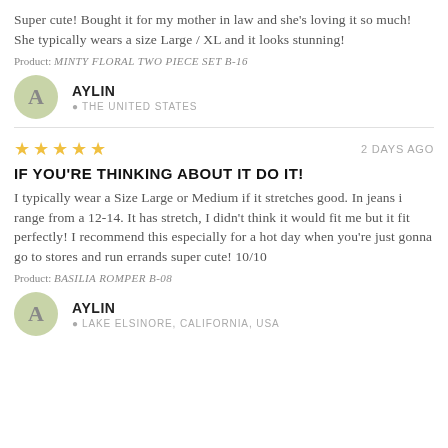Super cute! Bought it for my mother in law and she's loving it so much! She typically wears a size Large / XL and it looks stunning!
Product: MINTY FLORAL TWO PIECE SET B-16
AYLIN
📍 THE UNITED STATES
★★★★★  2 DAYS AGO
IF YOU'RE THINKING ABOUT IT DO IT!
I typically wear a Size Large or Medium if it stretches good. In jeans i range from a 12-14. It has stretch, I didn't think it would fit me but it fit perfectly! I recommend this especially for a hot day when you're just gonna go to stores and run errands super cute! 10/10
Product: BASILIA ROMPER B-08
AYLIN
📍 LAKE ELSINORE, CALIFORNIA, USA